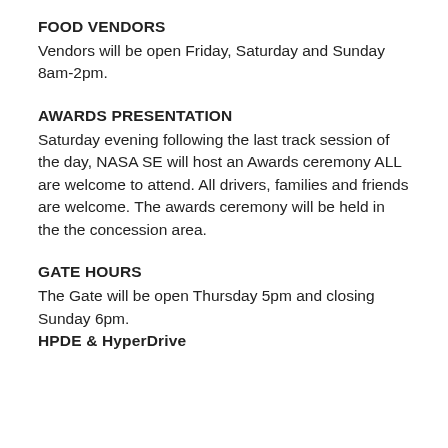FOOD VENDORS
Vendors will be open Friday, Saturday and Sunday 8am-2pm.
AWARDS PRESENTATION
Saturday evening following the last track session of the day, NASA SE will host an Awards ceremony ALL are welcome to attend. All drivers, families and friends are welcome. The awards ceremony will be held in the the concession area.
GATE HOURS
The Gate will be open Thursday 5pm and closing Sunday 6pm.
HPDE & HyperDrive